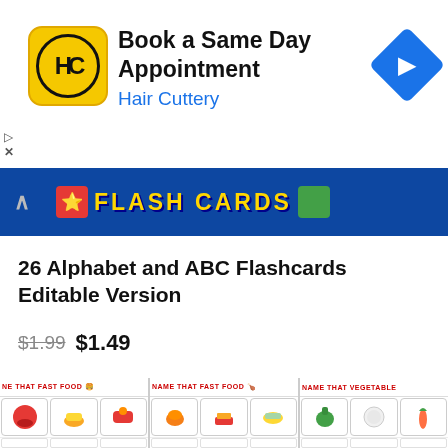[Figure (screenshot): Hair Cuttery advertisement banner with yellow logo, 'Book a Same Day Appointment' text, blue navigation icon, and ad controls (play/close buttons)]
[Figure (screenshot): Flash Cards banner strip in dark blue with colorful illustrations and 'FLASH CARDS' text in yellow]
26 Alphabet and ABC Flashcards Editable Version
$1.99 $1.49
[Figure (screenshot): Preview of flashcard worksheets: 'Name That Fast Food' (two columns) and 'Name That Vegetable' with cartoon food and vegetable illustrations in card grid layout]